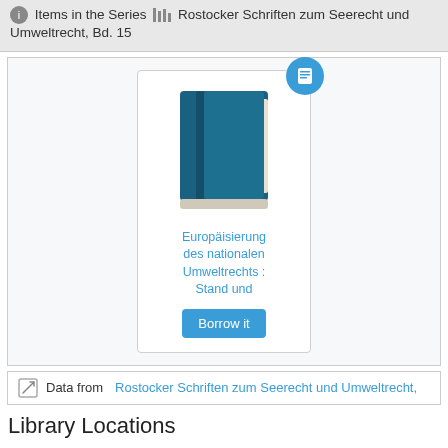Items in the Series  Rostocker Schriften zum Seerecht und Umweltrecht, Bd. 15
[Figure (illustration): Book cover illustration with blue book icon and a blue circular badge with a book/document icon. Below the book image is a title link reading 'Europäisierung des nationalen Umweltrechts : Stand und' and a 'Borrow it' button.]
Europäisierung des nationalen Umweltrechts : Stand und
Data from Rostocker Schriften zum Seerecht und Umweltrecht,
Library Locations